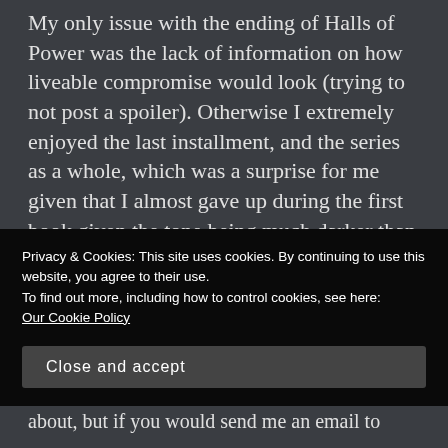My only issue with the ending of Halls of Power was the lack of information on how liveable compromise would look (trying to not post a spoiler). Otherwise I extremely enjoyed the last installment, and the series as a whole, which was a surprise for me given that I almost gave up during the first book given the tone being much darker than I normally like.
So, thanks for blowing away my expectations and opening up my horizons more.
★ Like
Privacy & Cookies: This site uses cookies. By continuing to use this website, you agree to their use.
To find out more, including how to control cookies, see here:
Our Cookie Policy
Close and accept
about, but if you would send me an email to